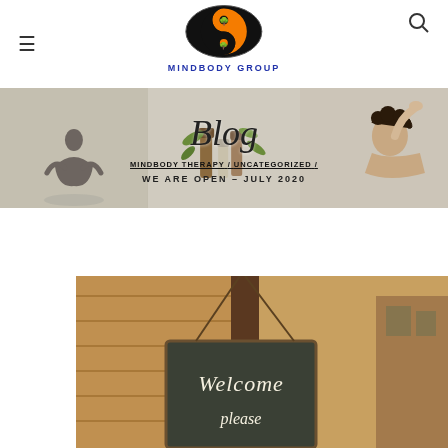[Figure (logo): MindBody Group yin-yang logo with orange and black circular design and a tree silhouette, with text MINDBODY GROUP below]
[Figure (photo): Three-panel hero banner: left panel shows a silhouette of a person meditating, middle panel shows essential oil bottles with green leaves, right panel shows a woman receiving a massage]
Blog
MINDBODY THERAPY / UNCATEGORIZED /
WE ARE OPEN – JULY 2020
[Figure (photo): A sepia-toned photo of a chalkboard Welcome sign hanging on a wooden post, with the words Welcome please visible]